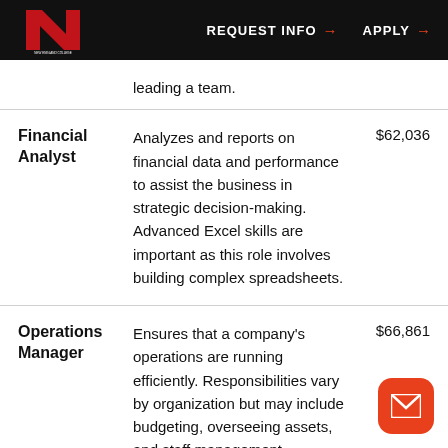REQUEST INFO → APPLY →
leading a team.
| Role | Description | Salary |
| --- | --- | --- |
| Financial Analyst | Analyzes and reports on financial data and performance to assist the business in strategic decision-making. Advanced Excel skills are important as this role involves building complex spreadsheets. | $62,036 |
| Operations Manager | Ensures that a company's operations are running efficiently. Responsibilities vary by organization but may include budgeting, overseeing assets, and staff management. | $66,861 |